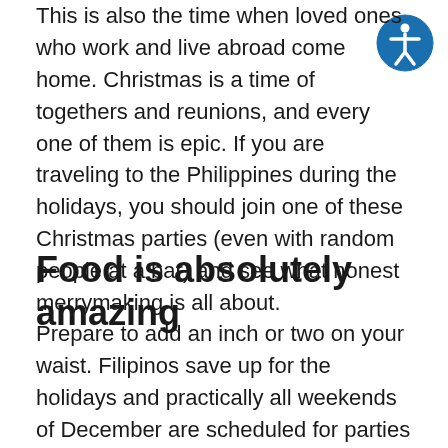This is also the time when loved ones who work and live abroad come home. Christmas is a time of togethers and reunions, and every one of them is epic. If you are traveling to the Philippines during the holidays, you should join one of these Christmas parties (even with random people at a bar) and see what honest merrymaking is all about.
Food is absolutely amazing
Prepare to add an inch or two on your waist. Filipinos save up for the holidays and practically all weekends of December are scheduled for parties and reunions. There's the Anthony Bourdain-approved lechon or roast pig, ham, and Christmas favorites bibingka and puto bumbong, which are